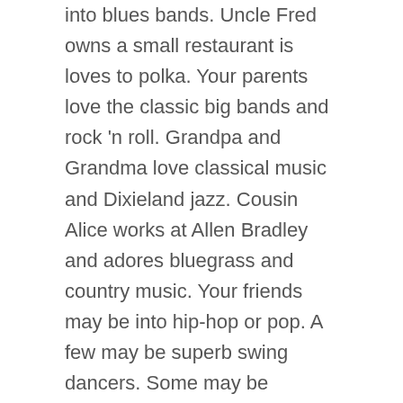into blues bands. Uncle Fred owns a small restaurant is loves to polka. Your parents love the classic big bands and rock 'n roll. Grandpa and Grandma love classical music and Dixieland jazz. Cousin Alice works at Allen Bradley and adores bluegrass and country music. Your friends may be into hip-hop or pop. A few may be superb swing dancers. Some may be Christian and are easily offended by lyrics of some songs.
PERSONALITIES – Within this odd mix of people, there are three distinct sub groups. The first group loves to dance and all they want is some exciting music, so they can move on the dance